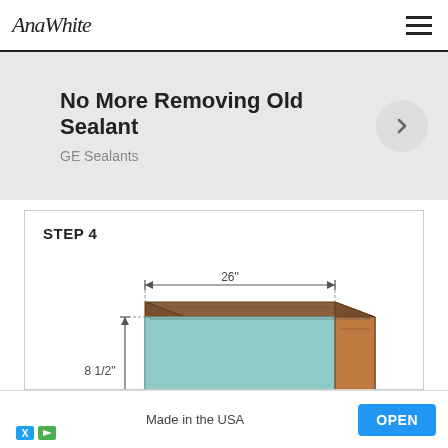AnaWhite
[Figure (screenshot): Advertisement banner: 'No More Removing Old Sealant' by GE Sealants with a right-arrow button]
STEP 4
[Figure (engineering-diagram): 3D isometric illustration of a wooden planter box with dimensions: 26 inches wide and 8 1/2 inches tall, with a light blue front panel]
[Figure (screenshot): Bottom advertisement: 'Made in the USA' with an OPEN button]